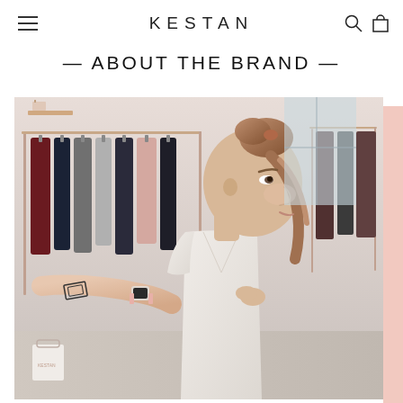KESTAN
— ABOUT THE BRAND —
[Figure (photo): A woman in a white sleeveless top wearing an Apple Watch with a pink band, shown in profile view inside what appears to be a clothing boutique. Clothing racks with garments in dark, maroon, and neutral tones are visible in the background. The woman has her hair up in a bun and has a small tattoo on her forearm.]